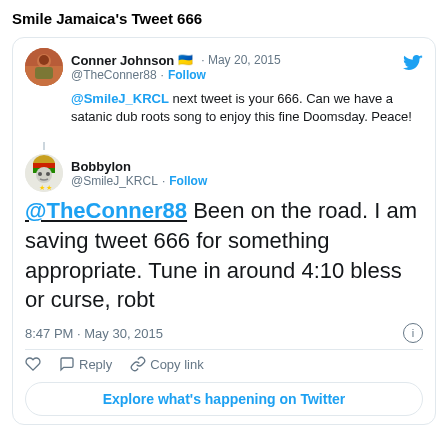Smile Jamaica's Tweet 666
[Figure (screenshot): Screenshot of a Twitter/X exchange. Conner Johnson (@TheConner88) tweets on May 20, 2015: '@SmileJ_KRCL next tweet is your 666. Can we have a satanic dub roots song to enjoy this fine Doomsday. Peace!' Bobbylon (@SmileJ_KRCL) replies at 8:47 PM · May 30, 2015: '@TheConner88 Been on the road. I am saving tweet 666 for something appropriate. Tune in around 4:10 bless or curse, robt']